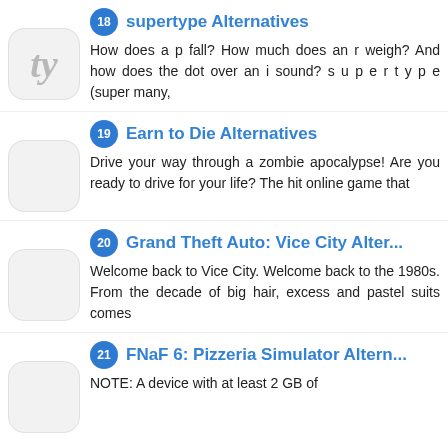18 supertype Alternatives — How does a p fall? How much does an r weigh? And how does the dot over an i sound? s u p e r t y p e (super many.
19 Earn to Die Alternatives — Drive your way through a zombie apocalypse! Are you ready to drive for your life? The hit online game that
20 Grand Theft Auto: Vice City Alter... — Welcome back to Vice City. Welcome back to the 1980s. From the decade of big hair, excess and pastel suits comes
21 FNaF 6: Pizzeria Simulator Altern... — NOTE: A device with at least 2 GB of